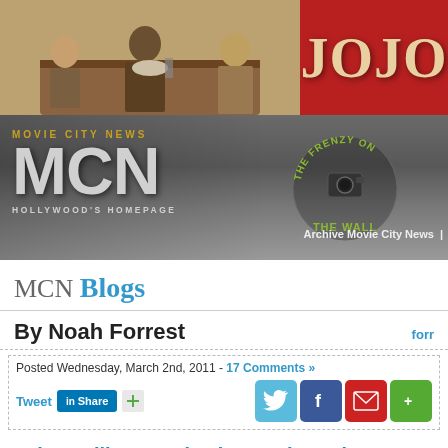[Figure (photo): Movie scene photo with two actors and a child at a table, alongside red panel with 'JOJO' text in large beige letters - advertisement banner]
[Figure (logo): Movie City News MCN logo with 'MOVIE CITY NEWS', large 'MCN' text, 'HOLLYWOOD'S HOMEPAGE' tagline, and 'The Frenzy On The Wall' circular badge with film camera graphic. 'Archive Movie City News' navigation text on right.]
MCN Blogs
By Noah Forrest
Posted Wednesday, March 2nd, 2011 - 17 Comments »
Tweet  Share  (share icons: Twitter, Facebook, Mail, Green)
John Galliano And Other Anti-Semites
[Figure (photo): Partial black and white photo at bottom of page]